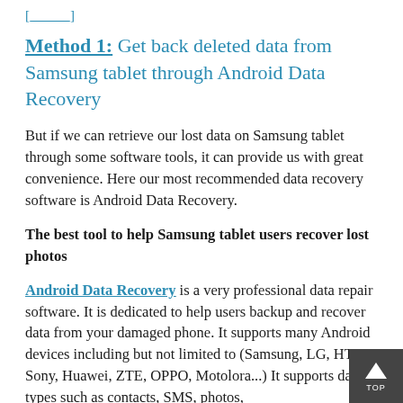[link at top]
Method 1: Get back deleted data from Samsung tablet through Android Data Recovery
But if we can retrieve our lost data on Samsung tablet through some software tools, it can provide us with great convenience. Here our most recommended data recovery software is Android Data Recovery.
The best tool to help Samsung tablet users recover lost photos
Android Data Recovery is a very professional data repair software. It is dedicated to help users backup and recover data from your damaged phone. It supports many Android devices including but not limited to (Samsung, LG, HTC, Sony, Huawei, ZTE, OPPO, Motolora...) It supports data types such as contacts, SMS, photos,